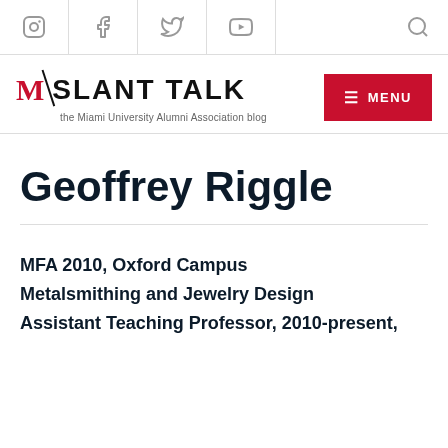Social icons bar with Instagram, Facebook, Twitter, YouTube, Search
[Figure (logo): M Slant Talk - the Miami University Alumni Association blog logo with red M emblem and MENU button]
Geoffrey Riggle
MFA 2010, Oxford Campus
Metalsmithing and Jewelry Design
Assistant Teaching Professor, 2010-present,